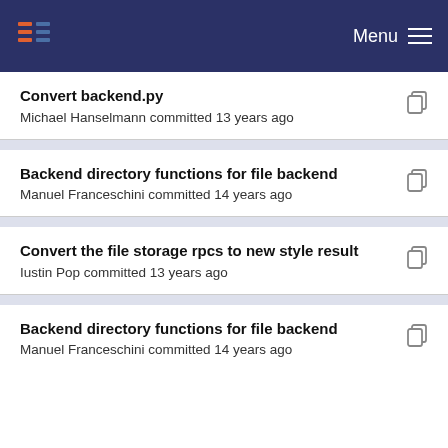Menu
Convert backend.py
Michael Hanselmann committed 13 years ago
Backend directory functions for file backend
Manuel Franceschini committed 14 years ago
Convert the file storage rpcs to new style result
Iustin Pop committed 13 years ago
Backend directory functions for file backend
Manuel Franceschini committed 14 years ago
Some documentation updates
Iustin Pop committed 13 years ago
Backend directory functions for file backend
Manuel Franceschini committed 14 years ago